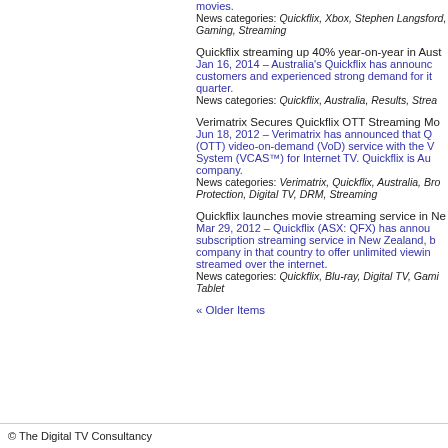movies.
News categories: Quickflix, Xbox, Stephen Langsford, Gaming, Streaming
Quickflix streaming up 40% year-on-year in Aust Jan 16, 2014 – Australia's Quickflix has announced customers and experienced strong demand for it quarter.
News categories: Quickflix, Australia, Results, Strea
Verimatrix Secures Quickflix OTT Streaming Mo Jun 18, 2012 – Verimatrix has announced that Q (OTT) video-on-demand (VoD) service with the V System (VCAS™) for Internet TV. Quickflix is Au company.
News categories: Verimatrix, Quickflix, Australia, Bro Protection, Digital TV, DRM, Streaming
Quickflix launches movie streaming service in Ne Mar 29, 2012 – Quickflix (ASX: QFX) has announ subscription streaming service in New Zealand, b company in that country to offer unlimited viewin streamed over the internet.
News categories: Quickflix, Blu-ray, Digital TV, Gami Tablet
« Older Items
© The Digital TV Consultancy